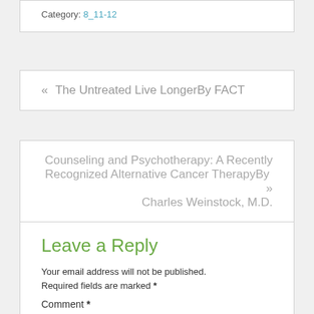Category: 8_11-12
« The Untreated Live LongerBy FACT
Counseling and Psychotherapy: A Recently Recognized Alternative Cancer TherapyBy Charles Weinstock, M.D. »
Leave a Reply
Your email address will not be published. Required fields are marked *
Comment *